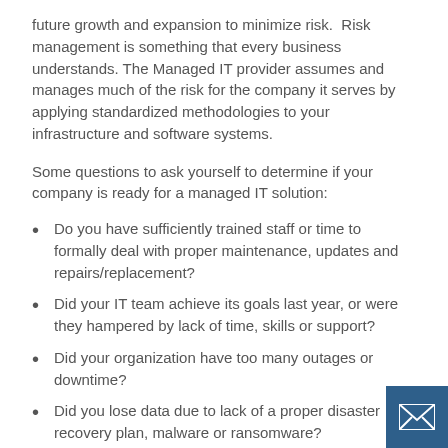future growth and expansion to minimize risk.  Risk management is something that every business understands. The Managed IT provider assumes and manages much of the risk for the company it serves by applying standardized methodologies to your infrastructure and software systems.
Some questions to ask yourself to determine if your company is ready for a managed IT solution:
Do you have sufficiently trained staff or time to formally deal with proper maintenance, updates and repairs/replacement?
Did your IT team achieve its goals last year, or were they hampered by lack of time, skills or support?
Did your organization have too many outages or downtime?
Did you lose data due to lack of a proper disaster recovery plan, malware or ransomware?
Were you able to quickly pivot to a remote workforce and have the tools necessary to maintain and support that workforce?